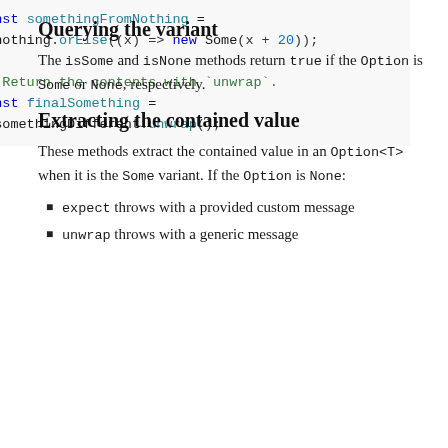const somethingFromNothing = nothing.orElse((x) => new Some(x + 20));

// Return the contents with `unwrap`.
const finalSomething = somethingDifferent.unwrap();
Querying the variant
The isSome and isNone methods return true if the Option is Some or None, respectively.
Extracting the contained value
These methods extract the contained value in an Option<T> when it is the Some variant. If the Option is None:
expect throws with a provided custom message
unwrap throws with a generic message